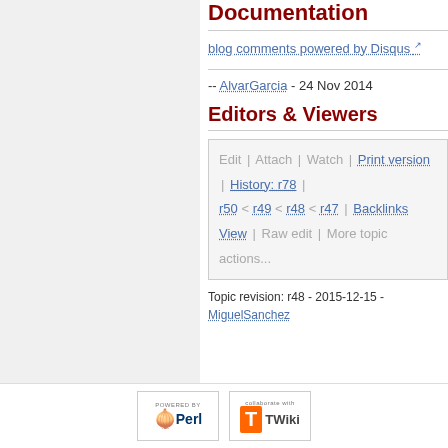Documentation
blog comments powered by Disqus
-- AlvarGarcia - 24 Nov 2014
Editors & Viewers
Edit | Attach | Watch | Print version | History: r78 | r50 < r49 < r48 < r47 | Backlinks View | Raw edit | More topic actions...
Topic revision: r48 - 2015-12-15 - MiguelSanchez
[Figure (logo): Powered by Perl logo and TWiki collaborate logo in footer]